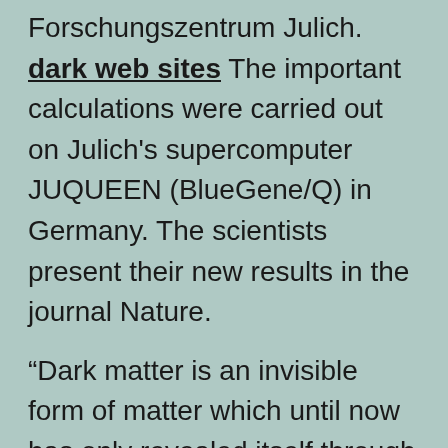Forschungszentrum Julich. dark web sites The important calculations were carried out on Julich's supercomputer JUQUEEN (BlueGene/Q) in Germany. The scientists present their new results in the journal Nature.
“Dark matter is an invisible form of matter which until now has only revealed itself through its gravitational effects. What it consists of remains a complete mystery, ” commented study co-author Dr. Andreas Ringwald in a November 2, 2016 Deutsches Elektronen-Synchrotron (DESY) Press release. DESY is a Research Centre of the Helmholtz